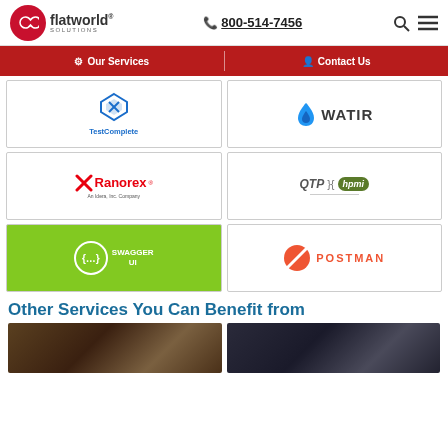flatworld solutions | 800-514-7456
[Figure (logo): Flatworld Solutions logo with red circle and infinity symbol]
800-514-7456
[Figure (other): Navigation bar with Our Services and Contact Us links on red background]
[Figure (logo): TestComplete logo - blue diamond icon with TestComplete text]
[Figure (logo): Watir logo - blue droplet with WATIR text]
[Figure (logo): Ranorex logo - red X with Ranorex text, An Idera Inc. Company]
[Figure (logo): QTP hpmi logo - QTP text with hpmi green badge]
[Figure (logo): Swagger UI logo - green circle with braces on green background]
[Figure (logo): Postman logo - orange circle with diagonal stripe and POSTMAN text]
Other Services You Can Benefit from
[Figure (photo): Dark brownish photo on left]
[Figure (photo): Dark grayish photo on right]